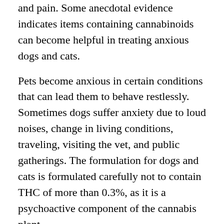and pain. Some anecdotal evidence indicates items containing cannabinoids can become helpful in treating anxious dogs and cats.
Pets become anxious in certain conditions that can lead them to behave restlessly. Sometimes dogs suffer anxiety due to loud noises, change in living conditions, traveling, visiting the vet, and public gatherings. The formulation for dogs and cats is formulated carefully not to contain THC of more than 0.3%, as it is a psychoactive component of the cannabis plant.
CBD items designed to reduce pet anxiety are effective in achieving this goal. These items help in making pets feel more relaxed, calm, and comfortable. They usually contain no THC, items that contain this psychoactive substance have a concentration of less than 0.3%. There are multiple cannabidiol-containing items in the market for pets. Of those, here is a list of the best CBDs for pet